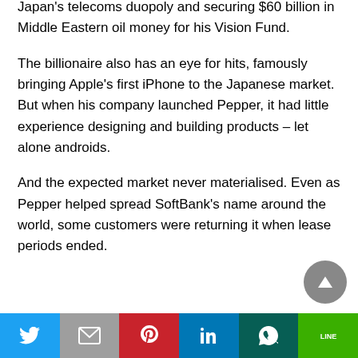Japan's telecoms duopoly and securing $60 billion in Middle Eastern oil money for his Vision Fund.
The billionaire also has an eye for hits, famously bringing Apple's first iPhone to the Japanese market. But when his company launched Pepper, it had little experience designing and building products – let alone androids.
And the expected market never materialised. Even as Pepper helped spread SoftBank's name around the world, some customers were returning it when lease periods ended.
Social share bar: Twitter, Mail, Pinterest, LinkedIn, WhatsApp, LINE